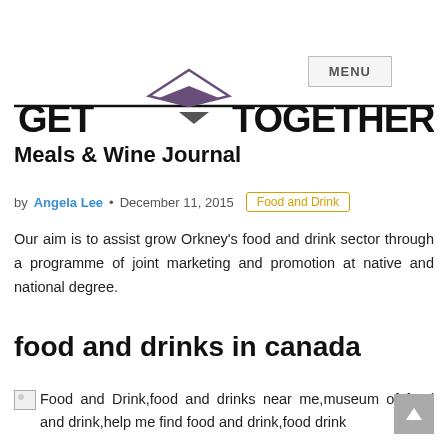MENU
[Figure (logo): GET TOGETHER Meals & Wine Journal logo with geometric diamond/arrow shapes]
Meals & Wine Journal
by Angela Lee • December 11, 2015  Food and Drink
Our aim is to assist grow Orkney's food and drink sector through a programme of joint marketing and promotion at native and national degree.
food and drinks in canada
[Figure (illustration): Image placeholder for Food and Drink, food and drinks near me, museum of food and drink, help me find food and drink, food drink]